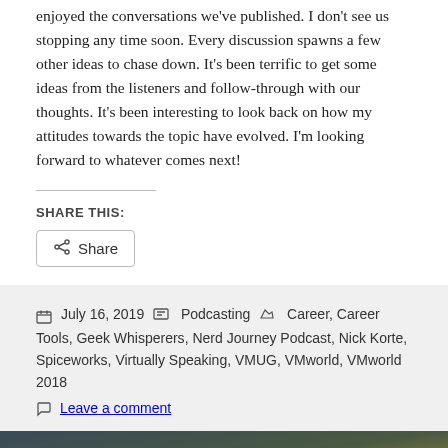enjoyed the conversations we've published. I don't see us stopping any time soon. Every discussion spawns a few other ideas to chase down. It's been terrific to get some ideas from the listeners and follow-through with our thoughts. It's been interesting to look back on how my attitudes towards the topic have evolved. I'm looking forward to whatever comes next!
SHARE THIS:
[Figure (other): Share button with share icon]
July 16, 2019  Podcasting  Career, Career Tools, Geek Whisperers, Nerd Journey Podcast, Nick Korte, Spiceworks, Virtually Speaking, VMUG, VMworld, VMworld 2018  Leave a comment
[Figure (photo): Partial photo of food items on a dark background, bottom strip of page]